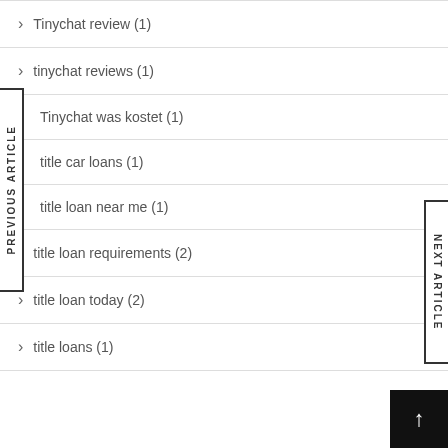Tinychat review (1)
tinychat reviews (1)
Tinychat was kostet (1)
title car loans (1)
title loan near me (1)
title loan requirements (2)
title loan today (2)
title loans (1)